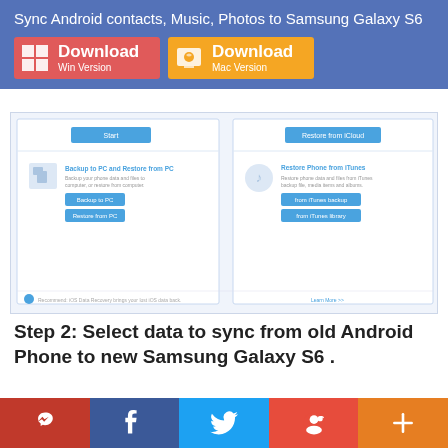Sync Android contacts, Music, Photos to Samsung Galaxy S6
[Figure (screenshot): Software interface screenshot showing backup/restore options with Start and Restore from iCloud buttons, Backup to PC/Restore from PC and Restore Phone from iTunes sections]
Step 2: Select data to sync from old Android Phone to new Samsung Galaxy S6 .
Now the program would check all of items automatically on the middle panel, you can also uncheck items you don't need. Simply click on Start Copy. After a